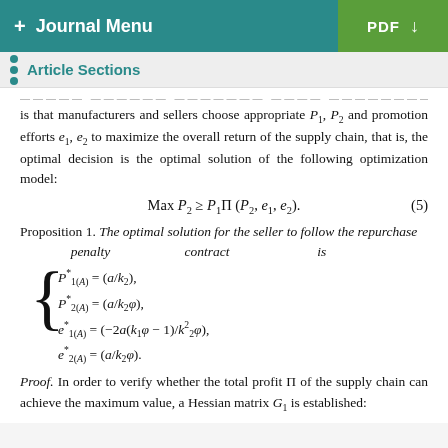+ Journal Menu | PDF ↓
Article Sections
is that manufacturers and sellers choose appropriate P₁, P₂ and promotion efforts e₁, e₂ to maximize the overall return of the supply chain, that is, the optimal decision is the optimal solution of the following optimization model:
Proposition 1. The optimal solution for the seller to follow the repurchase penalty contract is
Proof. In order to verify whether the total profit Π of the supply chain can achieve the maximum value, a Hessian matrix G₁ is established: